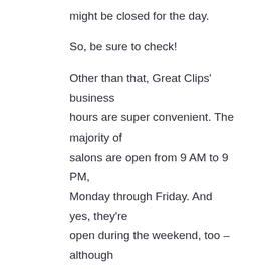might be closed for the day.
So, be sure to check!
Other than that, Great Clips' business hours are super convenient. The majority of salons are open from 9 AM to 9 PM, Monday through Friday. And yes, they're open during the weekend, too – although with slightly different salon hours.
There's no way that you won't find time for a quick haircut at Great Clips!